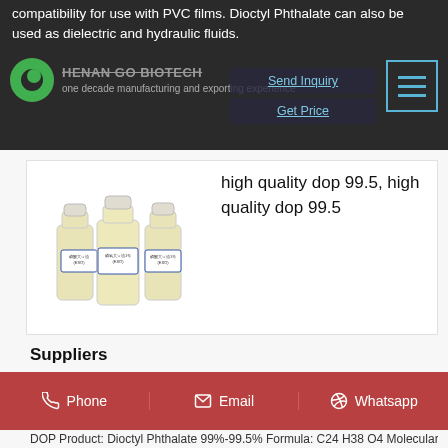compatibility for use with PVC films. Dioctyl Phthalate can also be used as dielectric and hydraulic fluids.
[Figure (logo): Henan Go Biotech logo - green circle with white C shape, company name and tagline]
[Figure (photo): Three clear plastic bottles with white caps containing yellowish liquid labeled ESO]
high quality dop 99.5, high quality dop 99.5
Suppliers
Phone
Email
Whatsapp
DOP Product: Dioctyl Phthalate 99%-99.5% Formula: C24 H38 O4 Molecular Weight: 390.55